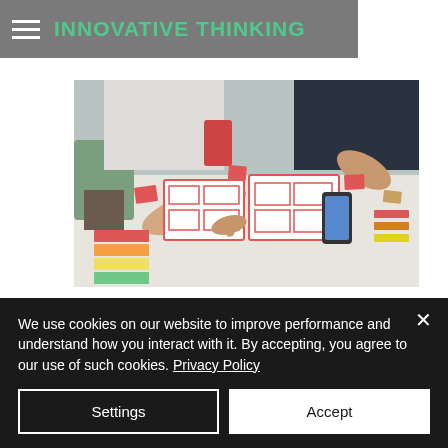INNOVATIVE THINKING
[Figure (photo): Two people working on UX/UI wireframe layouts on a table, with color swatches and sticky notes, one person pointing at the wireframes and another holding a phone]
ALSO SEE: 6 Tricks To Successfully_
We use cookies on our website to improve performance and understand how you interact with it. By accepting, you agree to our use of such cookies. Privacy Policy
Settings | Accept